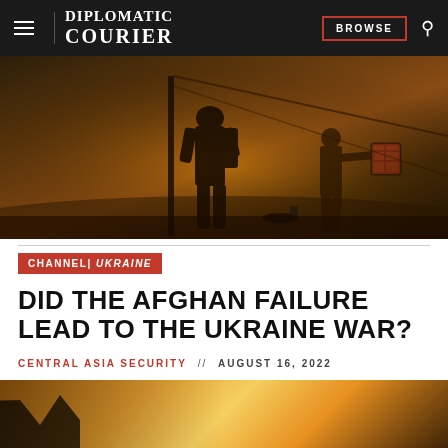DIPLOMATIC COURIER | BROWSE
[Figure (photo): Silhouetted soldiers or figures in a desert/war zone setting with warm orange-brown tones, one figure in the foreground and another carrying equipment in the background]
CHANNEL | UKRAINE
DID THE AFGHAN FAILURE LEAD TO THE UKRAINE WAR?
CENTRAL ASIA SECURITY // AUGUST 16, 2022
[Figure (photo): Partial view of another photo with warm golden/orange tones, silhouette visible at bottom left]